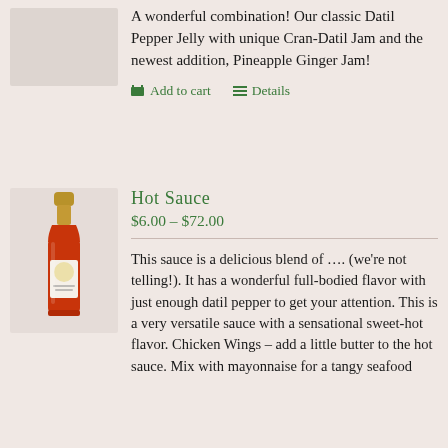[Figure (photo): Partial view of a product image (jelly/jam jars) at top left, partially cropped]
A wonderful combination! Our classic Datil Pepper Jelly with unique Cran-Datil Jam and the newest addition, Pineapple Ginger Jam!
Add to cart   Details
[Figure (photo): A bottle of hot sauce with a golden cap and a label featuring a decorative design, white background]
Hot Sauce
$6.00 – $72.00
This sauce is a delicious blend of …. (we're not telling!). It has a wonderful full-bodied flavor with just enough datil pepper to get your attention. This is a very versatile sauce with a sensational sweet-hot flavor. Chicken Wings – add a little butter to the hot sauce. Mix with mayonnaise for a tangy seafood